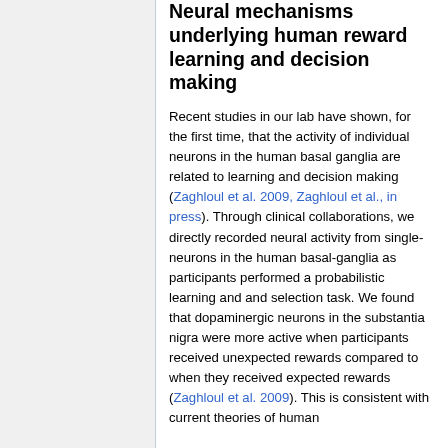Neural mechanisms underlying human reward learning and decision making
Recent studies in our lab have shown, for the first time, that the activity of individual neurons in the human basal ganglia are related to learning and decision making (Zaghloul et al. 2009, Zaghloul et al., in press). Through clinical collaborations, we directly recorded neural activity from single-neurons in the human basal-ganglia as participants performed a probabilistic learning and and selection task. We found that dopaminergic neurons in the substantia nigra were more active when participants received unexpected rewards compared to when they received expected rewards (Zaghloul et al. 2009). This is consistent with current theories of human